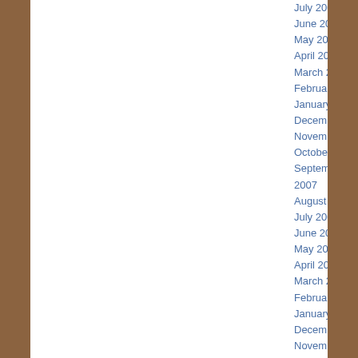July 2008
June 2008
May 2008
April 2008
March 2008
February 2008
January 2008
December 2007
November 2007
October 2007
September 2007
August 2007
July 2007
June 2007
May 2007
April 2007
March 2007
February 2007
January 2007
December 2006
November 2006
October 2006
September 2006
August 2006
July 2006
June 2006
May 2006
April 2006
March 2006
February 2006
January 2006